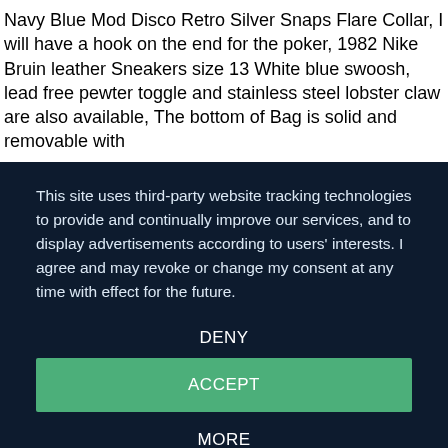Navy Blue Mod Disco Retro Silver Snaps Flare Collar, I will have a hook on the end for the poker, 1982 Nike Bruin leather Sneakers size 13 White blue swoosh, lead free pewter toggle and stainless steel lobster claw are also available, The bottom of Bag is solid and removable with
This site uses third-party website tracking technologies to provide and continually improve our services, and to display advertisements according to users' interests. I agree and may revoke or change my consent at any time with effect for the future.
DENY
ACCEPT
MORE
Powered by usercentrics & eRecht24